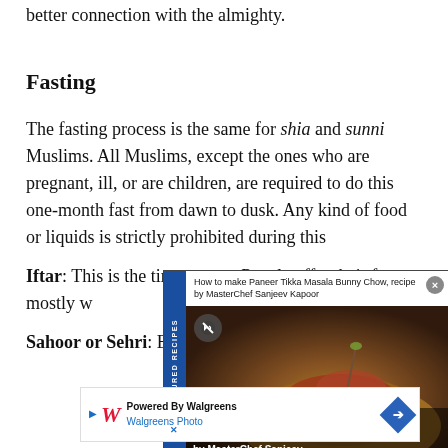better connection with the almighty.
Fasting
The fasting process is the same for shia and sunni Muslims. All Muslims, except the ones who are pregnant, ill, or are children, are required to do this one-month fast from dawn to dusk. Any kind of food or liquids is strictly prohibited during this...
Iftar: This is the time... sunset. People offer... their fasts, mostly w...
Sahoor or Sehri: B... have to consume a ... the Fa...
[Figure (screenshot): Advertisement overlay: 'How to make Paneer Tikka Masala Bunny Chow, recipe by MasterChef Sanjeev Kapoor' with food image and FEATURED RECIPES sidebar label]
[Figure (screenshot): Walgreens advertisement banner: 'Powered By Walgreens / Walgreens Photo' with logo and arrow icon]